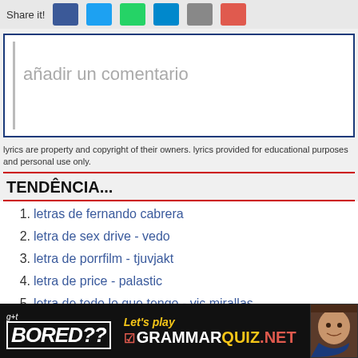Share it!
añadir un comentario
lyrics are property and copyright of their owners. lyrics provided for educational purposes and personal use only.
TENDÊNCIA...
1. letras de fernando cabrera
2. letra de sex drive - vedo
3. letra de porrfilm - tjuvjakt
4. letra de price - palastic
5. letra de todo lo que tengo - vic mirallas
6. letra de müll deiner gesellschaft - asche
7. letra de ella que me da - qmbia juan
[Figure (infographic): Advertisement banner: BORED?? Let's play GRAMMARQUIZ.NET with child photo]